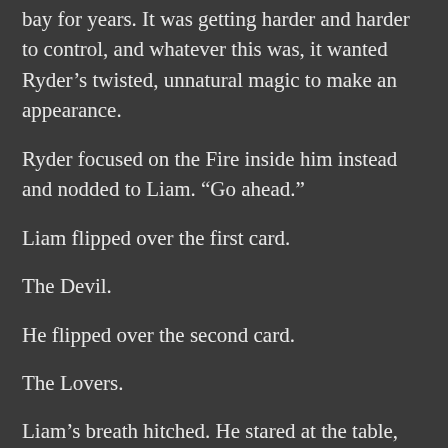bay for years. It was getting harder and harder to control, and whatever this was, it wanted Ryder's twisted, unnatural magic to make an appearance.
Ryder focused on the Fire inside him instead and nodded to Liam. “Go ahead.”
Liam flipped over the first card.
The Devil.
He flipped over the second card.
The Lovers.
Liam’s breath hitched. He stared at the table, arms flexed and trembling beneath a tight-fitted black sweater. Heat darkened his cheeks and turned his tan skin the same color as Ryder’s maroon deck-pouch.
“Fatality,” Liam whispered.
“T…” Ryder…